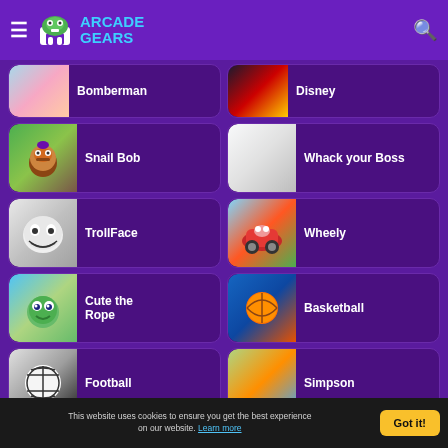Arcade Gears
Bomberman
Disney
Snail Bob
Whack your Boss
TrollFace
Wheely
Cute the Rope
Basketball
Football
Simpson
Scooby Doo
Robot
This website uses cookies to ensure you get the best experience on our website. Learn more  Got it!